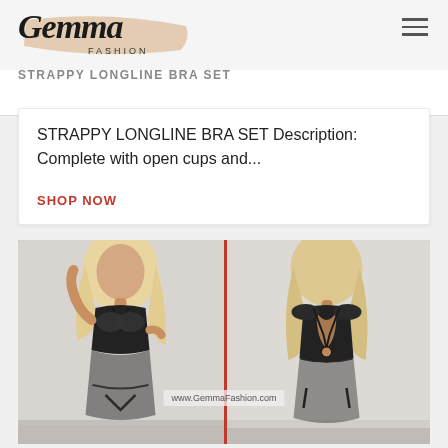[Figure (logo): Gemma Fashion logo with italic script font on peach/tan brush stroke background, with hamburger menu icon top right]
STRAPPY LONGLINE BRA SET
STRAPPY LONGLINE BRA SET Description: Complete with open cups and...
SHOP NOW
[Figure (photo): Two-panel photo of a model wearing a strappy longline lace bra set in black: left panel shows front view, right panel shows back view. Watermark reads www.GemmaFashion.com]